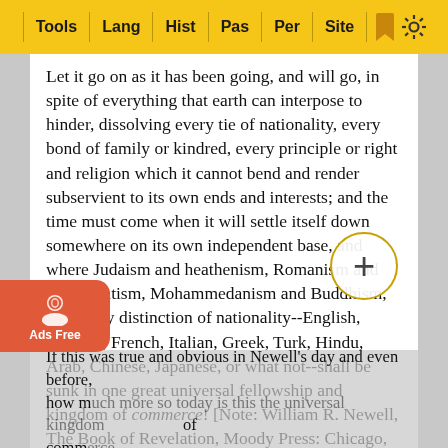Tools | Lang | Hist | Pas | Per | Site
Let it go on as it has been going, and will go, in spite of everything that earth can interpose to hinder, dissolving every tie of nationality, every bond of family or kindred, every principle or right and religion which it cannot bend and render subservient to its own ends and interests; and the time must come when it will settle itself down somewhere on its own independent base, and where Judaism and heathenism, Romanism and Protestantism, Mohammedanism and Buddhism, and every distinction of nationality--English, German, French, Italian, Greek, Turk, Hindu, Arab, Chinese, Japanese, or what not--shall be sunk in one great universal fellowship and kingdom of commerce! [Note: William R. Newell, The Book of Revelation, Moody Press: Chicago, 1966, p. 283 quoting Weiss from his book "On the Apocalypse" written in 1862]
If this was true and obvious in Newell's day and even before, how much more so today is this the universal kingdom of commerce